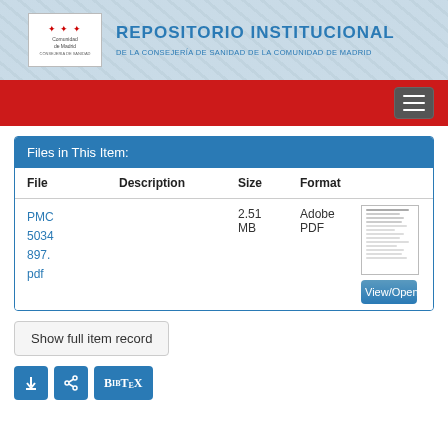[Figure (screenshot): Header banner of Repositorio Institucional de la Consejería de Sanidad de la Comunidad de Madrid with logo and title]
[Figure (screenshot): Red navigation bar with hamburger menu button on the right]
Files in This Item:
| File | Description | Size | Format |
| --- | --- | --- | --- |
| PMC5034897.pdf |  | 2.51 MB | Adobe PDF |
View/Open
Show full item record
[Figure (screenshot): Social share buttons: download, share, and BibTeX]